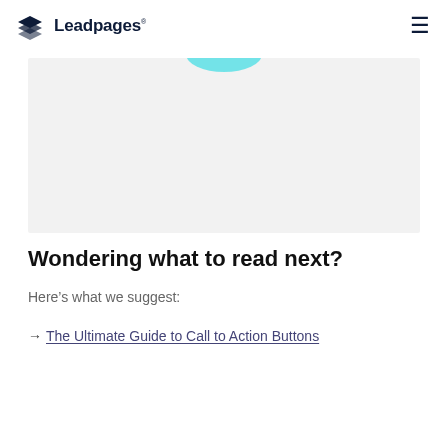Leadpages
[Figure (illustration): Gray rectangular area with a teal/cyan elliptical shape partially visible at the top center, representing a cropped image or graphic element.]
Wondering what to read next?
Here’s what we suggest:
→ The Ultimate Guide to Call to Action Buttons